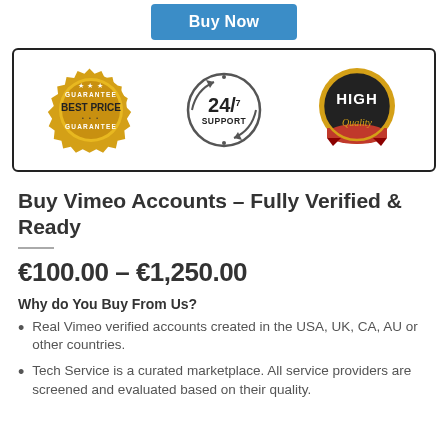[Figure (illustration): Three badge icons: 'Best Price Guarantee' gold badge, '24/7 Support' clock badge, and 'High Quality' black and gold badge, displayed inside a black-bordered rounded rectangle. A blue 'Buy Now' button is partially visible at the top.]
Buy Vimeo Accounts – Fully Verified & Ready
€100.00 – €1,250.00
Why do You Buy From Us?
Real Vimeo verified accounts created in the USA, UK, CA, AU or other countries.
Tech Service is a curated marketplace. All service providers are screened and evaluated based on their quality.